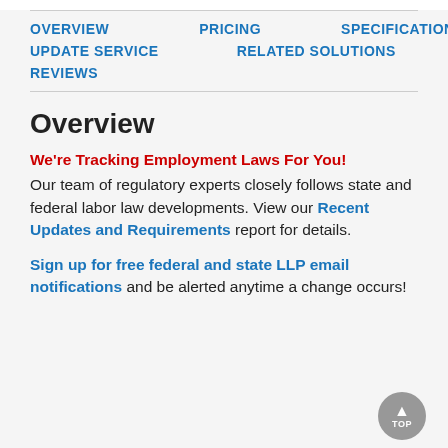OVERVIEW | PRICING | SPECIFICATION | UPDATE SERVICE | RELATED SOLUTIONS | Q&A | REVIEWS
Overview
We're Tracking Employment Laws For You! Our team of regulatory experts closely follows state and federal labor law developments. View our Recent Updates and Requirements report for details.
Sign up for free federal and state LLP email notifications and be alerted anytime a change occurs!